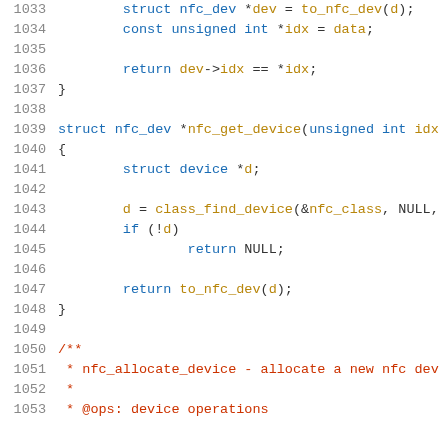[Figure (screenshot): Source code listing showing C code for nfc_get_device function and beginning of nfc_allocate_device comment, lines 1033-1053]